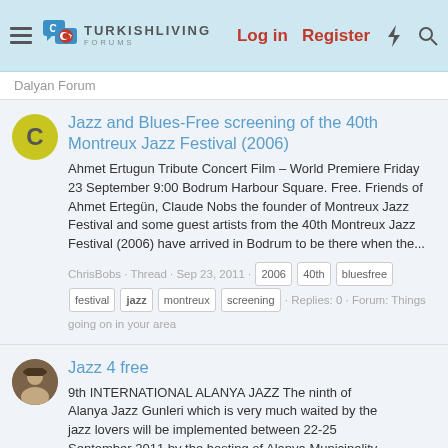TurkishLiving Forums - Log in | Register
Dalyan Forum
Jazz and Blues-Free screening of the 40th Montreux Jazz Festival (2006)
Ahmet Ertugun Tribute Concert Film – World Premiere Friday 23 September 9:00 Bodrum Harbour Square. Free. Friends of Ahmet Ertegün, Claude Nobs the founder of Montreux Jazz Festival and some guest artists from the 40th Montreux Jazz Festival (2006) have arrived in Bodrum to be there when the...
ChrisBobs · Thread · Sep 23, 2011 · 2006 · 40th · bluesfree · festival · jazz · montreux · screening · Replies: 0 · Forum: Things going on in your area
Jazz 4 free
9th INTERNATIONAL ALANYA JAZZ The ninth of Alanya Jazz Gunleri which is very much waited by the jazz lovers will be implemented between 22-25 September 2011 by the hosting of Alanya Municipality at historical Red Tower. The Concerts are free of charge and open to all Public. PROGRAMME All...
gerald · Thread · Sep 20, 2011 · free · jazz · Replies: 2 · Forum: